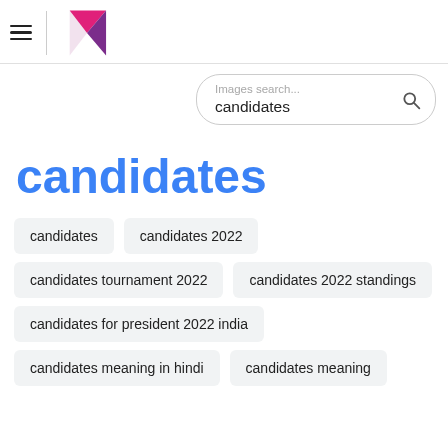[Figure (logo): App header with hamburger menu, vertical separator, and a pink/purple arrow-shaped logo]
Images search...
candidates
candidates
candidates
candidates 2022
candidates tournament 2022
candidates 2022 standings
candidates for president 2022 india
candidates meaning in hindi
candidates meaning